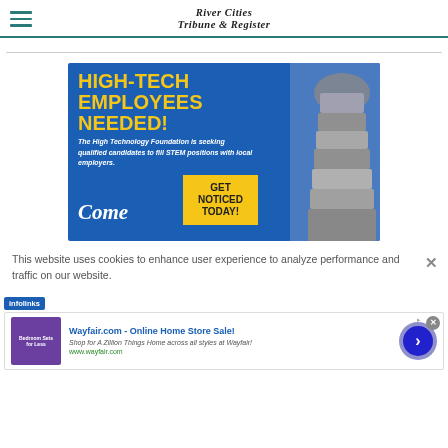River Cities Tribune & Register
[Figure (illustration): Advertisement banner for High Technology Foundation: 'HIGH-TECH EMPLOYEES NEEDED! The High Technology Foundation is seeking qualified candidates to fill STEM positions with local employers. Come GET NOTICED TODAY!' with blue background and building image.]
This website uses cookies to enhance user experience to analyze performance and traffic on our website.
[Figure (illustration): Wayfair.com advertisement: 'Wayfair.com - Online Home Store Sale! Shop for A Zillion Things Home across all styles at Wayfair! www.wayfair.com' with arrow button.]